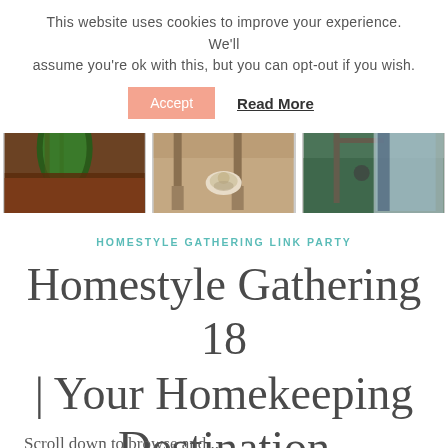This website uses cookies to improve your experience. We'll assume you're ok with this, but you can opt-out if you wish.
Accept  Read More
[Figure (photo): Three photos in a horizontal strip: left shows a garden with dark mulch and a green tree, center shows a fluffy dog lying on a wood floor, right shows a blue/white blanket over a garden chair with purple flowers]
HOMESTYLE GATHERING LINK PARTY
Homestyle Gathering 18 | Your Homekeeping Destination
Scroll down to browse and...